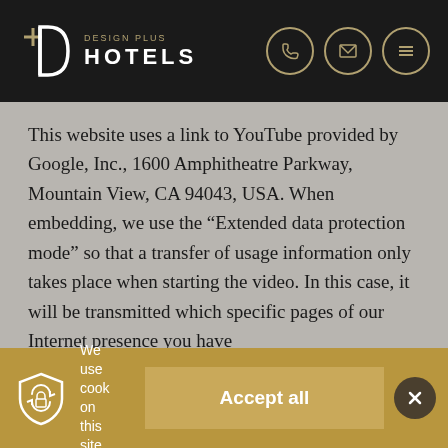[Figure (logo): Design Plus Hotels logo with white D letterform, gold plus sign, and white HOTELS text on dark background, with phone, email, and menu icons in gold circles on the right]
This website uses a link to YouTube provided by Google, Inc., 1600 Amphitheatre Parkway, Mountain View, CA 94043, USA. When embedding, we use the “Extended data protection mode” so that a transfer of usage information only takes place when starting the video. In this case, it will be transmitted which specific pages of our Internet presence you have
We use cook on this site
Accept all